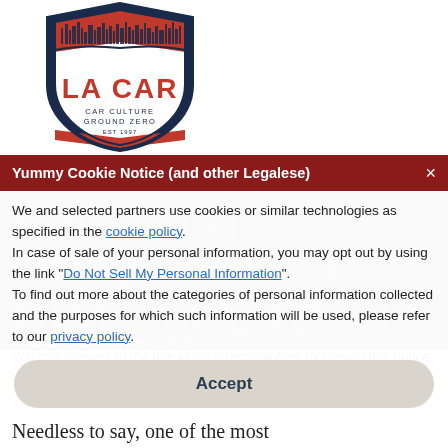[Figure (logo): LA CAR shield logo with city skyline, text 'LA CAR' in red and 'CAR CULTURE GROUND ZERO EST 1997' below]
TIRES THAT CONSERVE FUEL: THAT'S HOW I ROLL
Published on Thu, Feb 1, 2018
By: Glenn Oyoung
Yummy Cookie Notice (and other Legalese)
We and selected partners use cookies or similar technologies as specified in the cookie policy.
In case of sale of your personal information, you may opt out by using the link "Do Not Sell My Personal Information".
To find out more about the categories of personal information collected and the purposes for which such information will be used, please refer to our privacy policy.
You can consent to the use of such technologies by closing this notice and/or by clicking "Accept".
Accept
Needless to say, one of the most